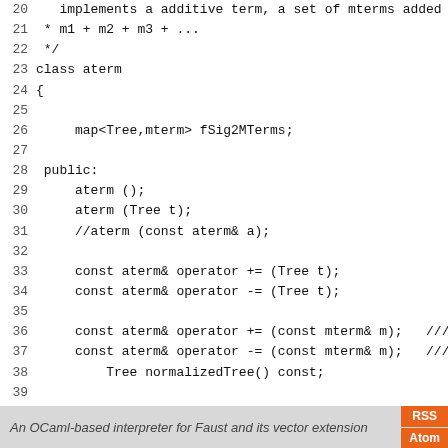Code listing lines 20-48: C++ class aterm definition and inline operator
An OCaml-based interpreter for Faust and its vector extension  [RSS] [Atom]